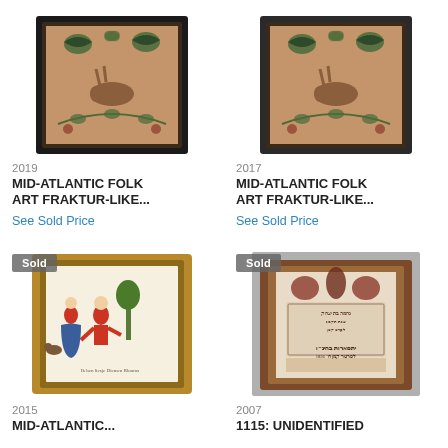[Figure (photo): Framed Mid-Atlantic Folk Art Fraktur-like piece, year 2019, no sold badge]
[Figure (photo): Framed Mid-Atlantic Folk Art Fraktur-like piece, year 2017, no sold badge]
2019
MID-ATLANTIC FOLK ART FRAKTUR-LIKE...
See Sold Price
2017
MID-ATLANTIC FOLK ART FRAKTUR-LIKE...
See Sold Price
[Figure (photo): Framed Mid-Atlantic artwork with Sold badge, year 2015, dancing figures scene in gold frame]
[Figure (photo): Framed 1115: Unidentified piece with Sold badge, year 2007, Hebrew/decorative script sampler in brown frame]
2015
MID-ATLANTIC...
2007
1115: UNIDENTIFIED